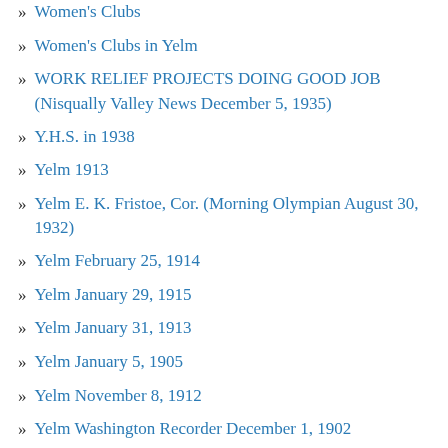Women's Clubs
Women's Clubs in Yelm
WORK RELIEF PROJECTS DOING GOOD JOB (Nisqually Valley News December 5, 1935)
Y.H.S. in 1938
Yelm 1913
Yelm E. K. Fristoe, Cor. (Morning Olympian August 30, 1932)
Yelm February 25, 1914
Yelm January 29, 1915
Yelm January 31, 1913
Yelm January 5, 1905
Yelm November 8, 1912
Yelm Washington Recorder December 1, 1902
Yelm (1935)